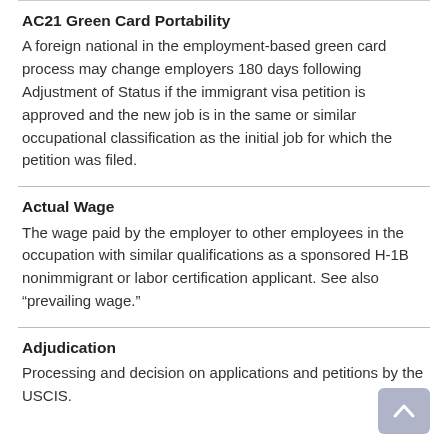AC21 Green Card Portability
A foreign national in the employment-based green card process may change employers 180 days following Adjustment of Status if the immigrant visa petition is approved and the new job is in the same or similar occupational classification as the initial job for which the petition was filed.
Actual Wage
The wage paid by the employer to other employees in the occupation with similar qualifications as a sponsored H-1B nonimmigrant or labor certification applicant. See also “prevailing wage.”
Adjudication
Processing and decision on applications and petitions by the USCIS.